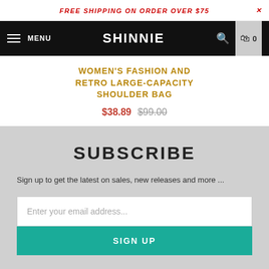FREE SHIPPING ON ORDER OVER $75
SHINNIE — MENU
WOMEN'S FASHION AND RETRO LARGE-CAPACITY SHOULDER BAG
$38.89 $99.00
SUBSCRIBE
Sign up to get the latest on sales, new releases and more ...
Enter your email address...
SIGN UP